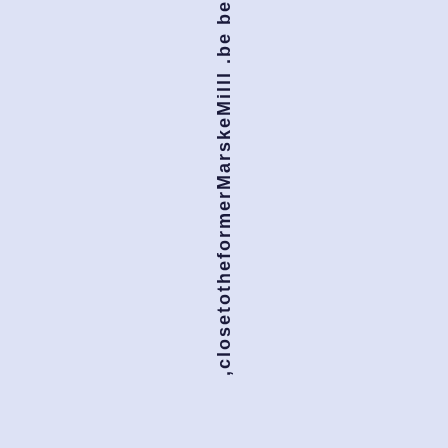,closetotheformerMarskeMilll .be be